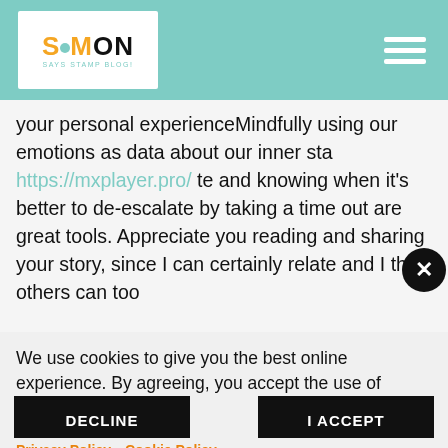Simon Says Stamp Blog
your personal experienceMindfully using our emotions as data about our inner sta https://mxplayer.pro/ te and knowing when it's better to de-escalate by taking a time out are great tools. Appreciate you reading and sharing your story, since I can certainly relate and I think others can too
We use cookies to give you the best online experience. By agreeing, you accept the use of cookies in accordance with our cookie policy.
DECLINE
I ACCEPT
Privacy Policy   Cookie Policy
assignments are written correctly, proofread